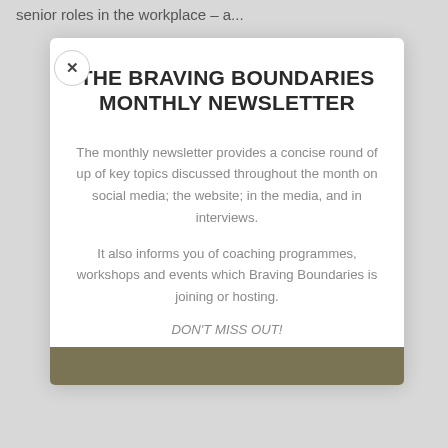senior roles in the workplace – a...
THE BRAVING BOUNDARIES MONTHLY NEWSLETTER
The monthly newsletter provides a concise round of up of key topics discussed throughout the month on social media; the website; in the media, and in interviews.
It also informs you of coaching programmes, workshops and events which Braving Boundaries is joining or hosting.
DON'T MISS OUT!